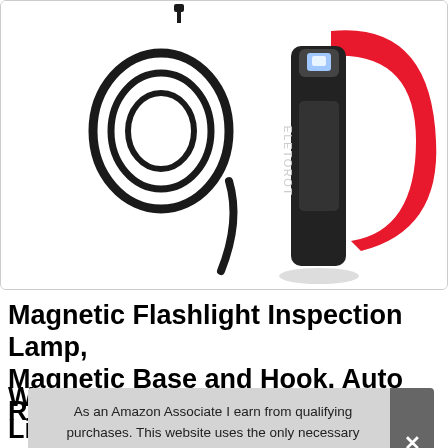[Figure (photo): Product image showing a USB charging cable coiled on the left, and an ELETOROT branded black magnetic flashlight/inspection lamp with a red hook/clip on the right, both on white background inside a rounded rectangle border.]
Magnetic Flashlight Inspection Lamp, Magnetic Base and Hook, Auto Re... Wo... Lig...
As an Amazon Associate I earn from qualifying purchases. This website uses the only necessary cookies to ensure you get the best experience on our website. More information